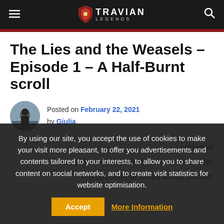TRAVIAN LEGENDS
The Lies and the Weasels – Episode 1 – A Half-Burnt scroll
Posted on February 22, 2021 by Giulia
Weasel – a small, slender animal, similar to a stoat – a deceitful or treacherous person
By using our site, you accept the use of cookies to make your visit more pleasant, to offer you advertisements and contents tailored to your interests, to allow you to share content on social networks, and to create visit statistics for website optimisation.
Accept   More Information